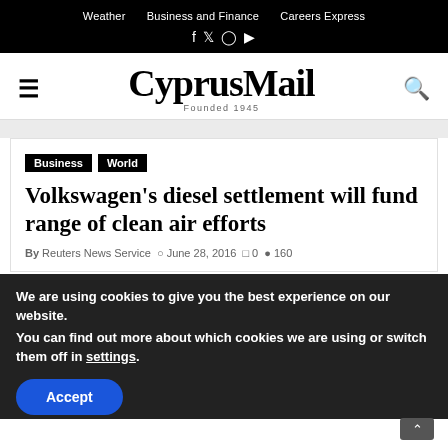Weather  Business and Finance  Careers Express
CyprusMail Founded 1945
Business
World
Volkswagen's diesel settlement will fund range of clean air efforts
By Reuters News Service  June 28, 2016  0  160
We are using cookies to give you the best experience on our website.
You can find out more about which cookies we are using or switch them off in settings.
Accept